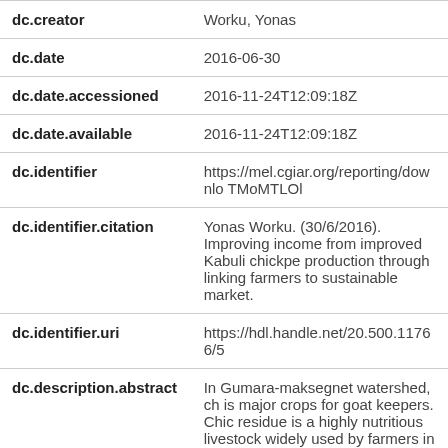| Field | Value |
| --- | --- |
| dc.creator | Worku, Yonas |
| dc.date | 2016-06-30 |
| dc.date.accessioned | 2016-11-24T12:09:18Z |
| dc.date.available | 2016-11-24T12:09:18Z |
| dc.identifier | https://mel.cgiar.org/reporting/downlo TMoMTLOl |
| dc.identifier.citation | Yonas Worku. (30/6/2016). Improving income from improved Kabuli chickpe production through linking farmers to sustainable market. |
| dc.identifier.uri | https://hdl.handle.net/20.500.11766/5 |
| dc.description.abstract | In Gumara-maksegnet watershed, ch is major crops for goat keepers. Chic residue is a highly nutritious livestock widely used by farmers in the area. F have grown the local chickpea variety traditionally, but additional varieties |